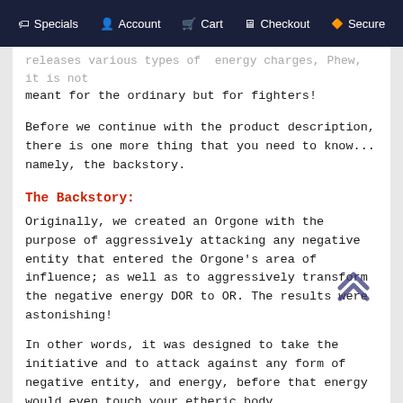Specials   Account   Cart   Checkout   Secure
...releases various types of energy charges, Phew, it is not meant for the ordinary but for fighters!
Before we continue with the product description, there is one more thing that you need to know... namely, the backstory.
The Backstory:
Originally, we created an Orgone with the purpose of aggressively attacking any negative entity that entered the Orgone's area of influence; as well as to aggressively transform the negative energy DOR to OR. The results were astonishing!
In other words, it was designed to take the initiative and to attack against any form of negative entity, and energy, before that energy would even touch your etheric body.
However, if people with low vibrational levels would